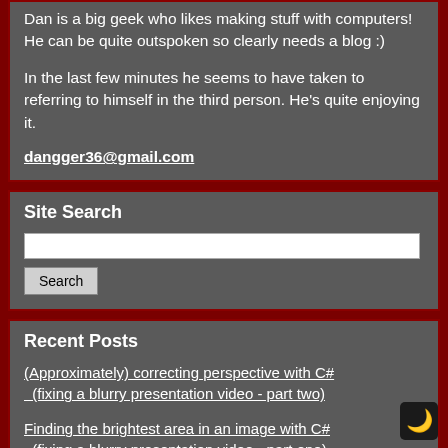Dan is a big geek who likes making stuff with computers! He can be quite outspoken so clearly needs a blog :)
In the last few minutes he seems to have taken to referring to himself in the third person. He's quite enjoying it.
dangger36@gmail.com
Site Search
Recent Posts
(Approximately) correcting perspective with C# (fixing a blurry presentation video - part two)
Finding the brightest area in an image with C# (fixing a blurry presentation video - part one)